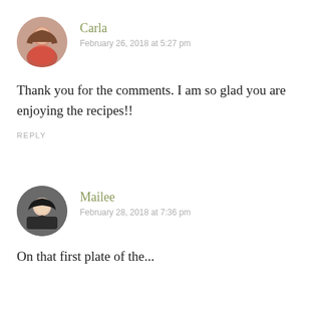[Figure (photo): Circular avatar photo of Carla, a woman with brown hair]
Carla
February 26, 2018 at 5:27 pm
Thank you for the comments. I am so glad you are enjoying the recipes!!
REPLY
[Figure (photo): Circular avatar photo of Mailee, a woman with dark hair wearing a dark jacket]
Mailee
February 28, 2018 at 7:36 pm
On that first plate of the...